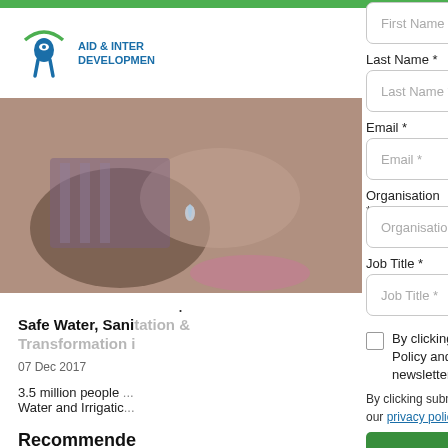[Figure (logo): Aid & International Development logo with eye/person icon in blue and green]
[Figure (photo): Close-up photo of hands, water-related scene]
Safe Water, Sanitation & Transformation i...
07 Dec 2017
3.5 million people ... Water and Irrigatio...
Recommende...
First Name *
Last Name *
Email *
Organisation *
Job Title *
By clicking here you accept our Privacy Policy and agree to receiving our newsletter
By clicking submit you are consenting to our privacy policy and terms of use.
Subscribe